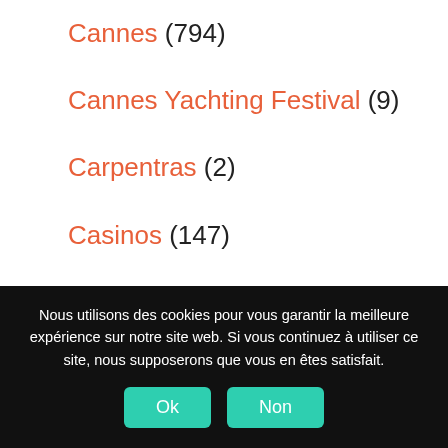Cannes (794)
Cannes Yachting Festival (9)
Carpentras (2)
Casinos (147)
CCI Nice Côte d'Azur (8)
CGPME 06 (1)
Châteauneuf-du-Pape (1)
Nous utilisons des cookies pour vous garantir la meilleure expérience sur notre site web. Si vous continuez à utiliser ce site, nous supposerons que vous en êtes satisfait.